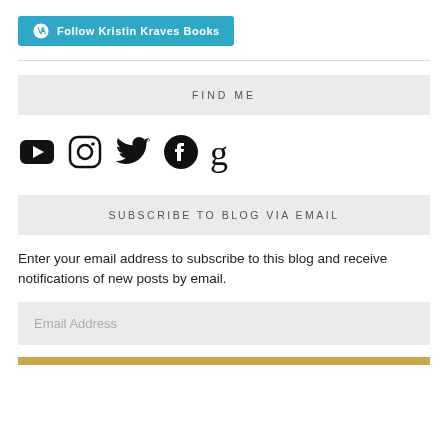[Figure (logo): WordPress Follow button: 'Follow Kristin Kraves Books' with WordPress icon, teal background]
FIND ME
[Figure (infographic): Social media icons: YouTube, Instagram, Twitter, Facebook, Goodreads]
SUBSCRIBE TO BLOG VIA EMAIL
Enter your email address to subscribe to this blog and receive notifications of new posts by email.
[Figure (other): Email Address input field (greyed out placeholder)]